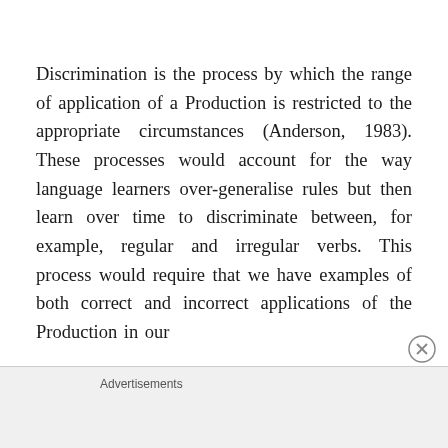Discrimination is the process by which the range of application of a Production is restricted to the appropriate circumstances (Anderson, 1983). These processes would account for the way language learners over-generalise rules but then learn over time to discriminate between, for example, regular and irregular verbs. This process would require that we have examples of both correct and incorrect applications of the Production in our
Advertisements